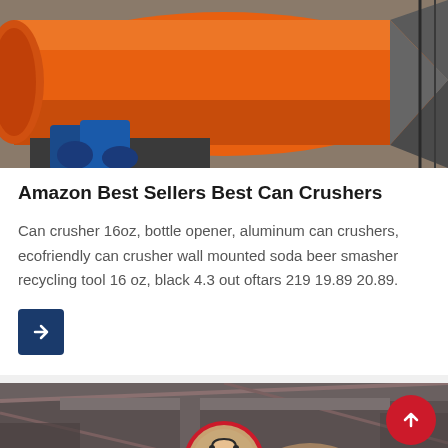[Figure (photo): Large orange industrial drum/cylinder (can crusher machine) on a factory floor, with blue mechanical parts and metal scaffolding visible]
Amazon Best Sellers Best Can Crushers
Can crusher 16oz, bottle opener, aluminum can crushers, ecofriendly can crusher wall mounted soda beer smasher recycling tool 16 oz, black 4.3 out oftars 219 19.89 20.89.
[Figure (other): Arrow right button (dark blue/navy square with white right arrow)]
[Figure (photo): Industrial factory interior with overhead crane, large metal coils, and structural beams]
Leave Message
Chat Online